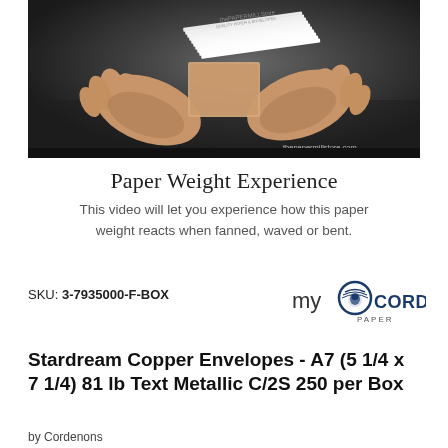[Figure (photo): Hands holding and fanning a stack of white papers/envelopes against a dark grey background, with the thepapermillstore.com watermark in the lower right corner of the image]
Paper Weight Experience
This video will let you experience how this paper weight reacts when fanned, waved or bent.
SKU: 3-7935000-F-BOX
[Figure (logo): myCordenons Paper logo — stylized 'my' in lowercase followed by a lion head icon and 'CORDENONS' in bold, with 'PAPER' below in smaller text]
Stardream Copper Envelopes - A7 (5 1/4 x 7 1/4) 81 lb Text Metallic C/2S 250 per Box
by Cordenons